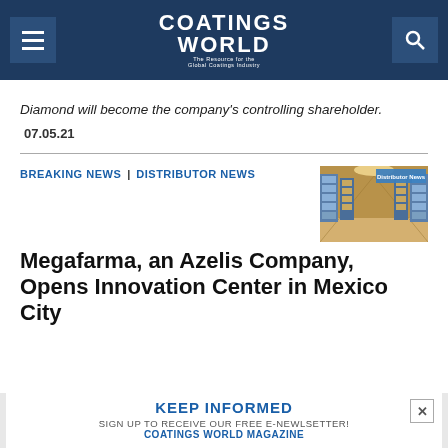Coatings World — The Resource for the Global Coatings Industry
Diamond will become the company's controlling shareholder.
07.05.21
BREAKING NEWS | DISTRIBUTOR NEWS
[Figure (photo): Warehouse interior with tall shelving racks stocked with boxes, labeled 'Distributor News']
Megafarma, an Azelis Company, Opens Innovation Center in Mexico City
KEEP INFORMED — SIGN UP TO RECEIVE OUR FREE E-NEWLSETTER! COATINGS WORLD MAGAZINE